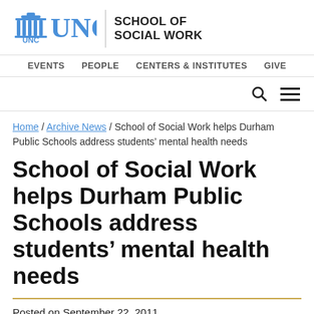[Figure (logo): UNC School of Social Work logo with UNC wordmark in blue, a vertical divider, and bold black text 'SCHOOL OF SOCIAL WORK']
EVENTS  PEOPLE  CENTERS & INSTITUTES  GIVE
Home / Archive News / School of Social Work helps Durham Public Schools address students’ mental health needs
School of Social Work helps Durham Public Schools address students’ mental health needs
Posted on September 22, 2011